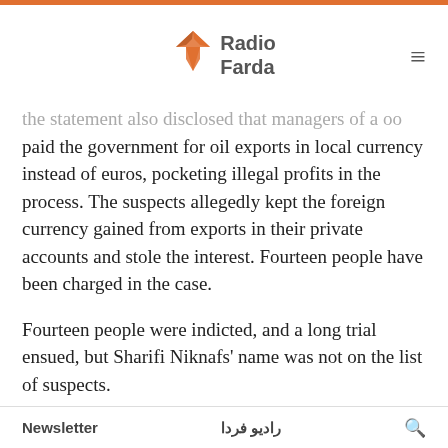Radio Farda
the statement also disclosed that managers of aN oo paid the government for oil exports in local currency instead of euros, pocketing illegal profits in the process. The suspects allegedly kept the foreign currency gained from exports in their private accounts and stole the interest. Fourteen people have been charged in the case.
Fourteen people were indicted, and a long trial ensued, but Sharifi Niknafs' name was not on the list of suspects.
An outspoken ultraconservative political activist and former legislator, Alireza Zakani, repeatedly insisted
Newsletter | رادیو فردا | 🔍